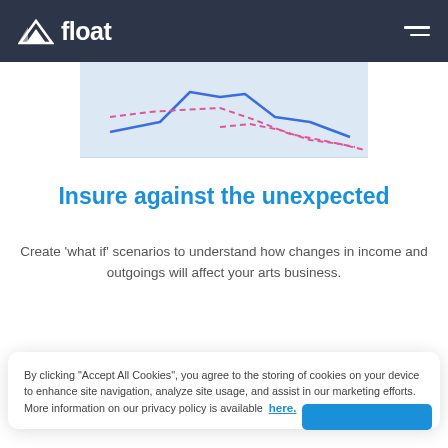float
[Figure (line-chart): Partial screenshot of a line chart showing blue and pink/dashed lines representing cash flow scenarios over time, on a light blue background.]
Insure against the unexpected
Create ‘what if’ scenarios to understand how changes in income and outgoings will affect your arts business.
By clicking “Accept All Cookies”, you agree to the storing of cookies on your device to enhance site navigation, analyze site usage, and assist in our marketing efforts. More information on our privacy policy is available here.